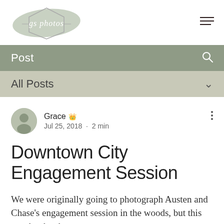[Figure (logo): gs photos logo — hexagonal frame with brush stroke, script text 'gs photos']
Post
All Posts
Grace  Jul 25, 2018 · 2 min
Downtown City Engagement Session
We were originally going to photograph Austen and Chase's engagement session in the woods, but this weather has been